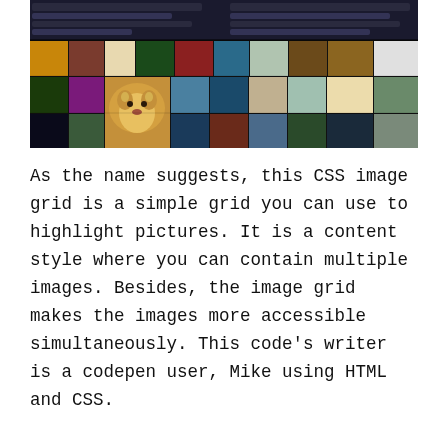[Figure (screenshot): A screenshot showing a CSS image grid with code editor on top (dark background, lines of code visible) and a collage of multiple thumbnail photos below arranged in a grid pattern — nature, animals, landscapes, cityscapes.]
As the name suggests, this CSS image grid is a simple grid you can use to highlight pictures. It is a content style where you can contain multiple images. Besides, the image grid makes the images more accessible simultaneously. This code's writer is a codepen user, Mike using HTML and CSS.